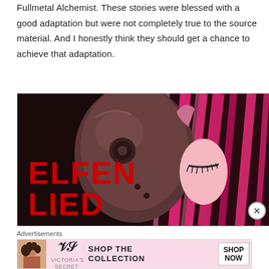Fullmetal Alchemist. These stories were blessed with a good adaptation but were not completely true to the source material. And I honestly think they should get a chance to achieve that adaptation.
[Figure (illustration): Manga/anime artwork for Elfen Lied showing a character wearing a dark helmet/mask alongside a figure with bright pink/red hair. The title 'ELFEN LIED' is displayed in large red text at the bottom left.]
Advertisements
[Figure (other): Victoria's Secret advertisement banner with pink background showing 'SHOP THE COLLECTION' text and a 'SHOP NOW' button.]